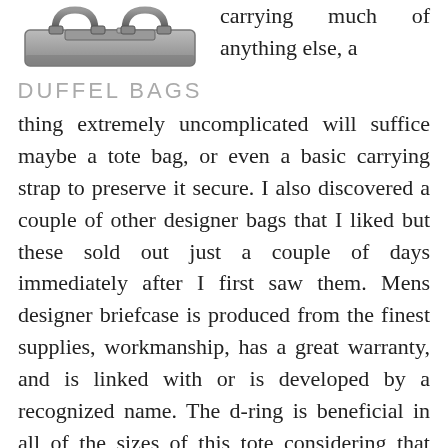[Figure (photo): Partial image of a duffel bag, showing handles and top portion in grayscale]
DUFFEL BAGS
carrying much of anything else, a thing extremely uncomplicated will suffice maybe a tote bag, or even a basic carrying strap to preserve it secure. I also discovered a couple of other designer bags that I liked but these sold out just a couple of days immediately after I first saw them. Mens designer briefcase is produced from the finest supplies, workmanship, has a great warranty, and is linked with or is developed by a recognized name. The d-ring is beneficial in all of the sizes of this tote considering that they do